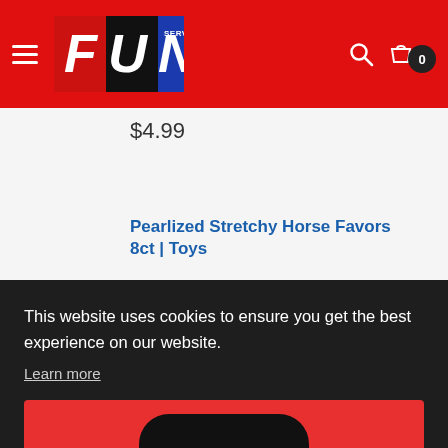Fun Services - Navigation Header
$4.99
Pearlized Stretchy Horse Favors 8ct | Toys
This website uses cookies to ensure you get the best experience on our website. Learn more
Got it!